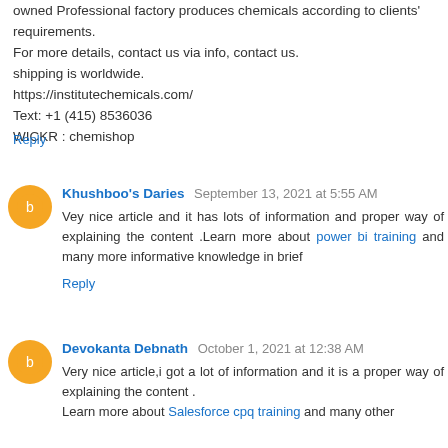owned Professional factory produces chemicals according to clients' requirements.
For more details, contact us via info, contact us.
shipping is worldwide.
https://institutechemicals.com/
Text: +1 (415) 8536036
WICKR : chemishop
Reply
Khushboo's Daries  September 13, 2021 at 5:55 AM
Vey nice article and it has lots of information and proper way of explaining the content .Learn more about power bi training and many more informative knowledge in brief
Reply
Devokanta Debnath  October 1, 2021 at 12:38 AM
Very nice article,i got a lot of information and it is a proper way of explaining the content .
Learn more about Salesforce cpq training and many other